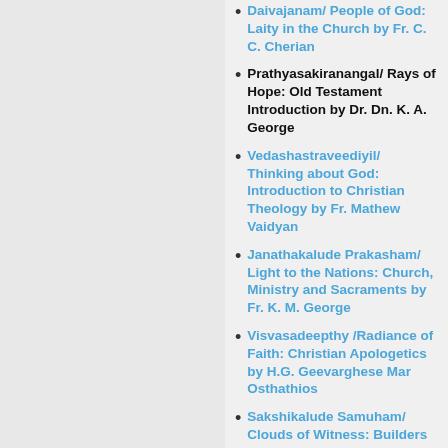Daivajanam/ People of God: Laity in the Church by Fr. C. C. Cherian
Prathyasakiranangal/ Rays of Hope: Old Testament Introduction by Dr. Dn. K. A. George
Vedashastraveediyil/ Thinking about God: Introduction to Christian Theology by Fr. Mathew Vaidyan
Janathakalude Prakasham/ Light to the Nations: Church, Ministry and Sacraments by Fr. K. M. George
Visvasadeepthy /Radiance of Faith: Christian Apologetics by H.G. Geevarghese Mar Osthathios
Sakshikalude Samuham/ Clouds of Witness: Builders of Christian Tradition/Patristics by Fr. Jacob Kurian
Sabha Valarunnu/ The Growing Church: Church History in India by Fr. V. C. Samuel
Jeevithapathayil/ On the Road to Life: Introduction to...